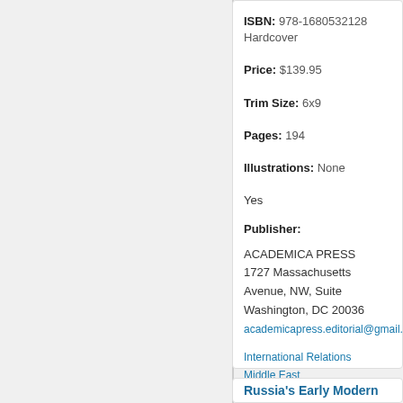ISBN: 978-1680532128 Hardcover
Price: $139.95
Trim Size: 6x9
Pages: 194
Illustrations: None
Yes
Publisher:
ACADEMICA PRESS
1727 Massachusetts Avenue, NW, Suite
Washington, DC 20036
academicapress.editorial@gmail.com
International Relations   Middle East
Russia's Early Modern